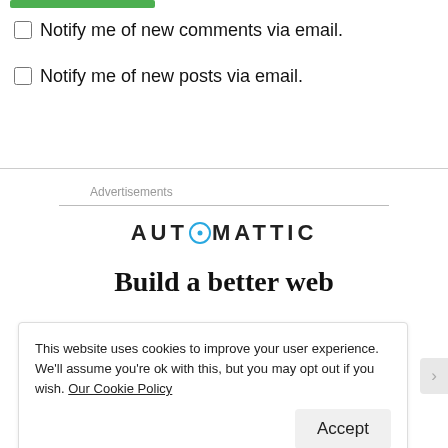[Figure (other): Green button or bar at top of page]
Notify me of new comments via email.
Notify me of new posts via email.
Advertisements
[Figure (logo): Automattic logo with stylized 'O' in teal/blue circle]
Build a better web
This website uses cookies to improve your user experience. We'll assume you're ok with this, but you may opt out if you wish. Our Cookie Policy
Accept